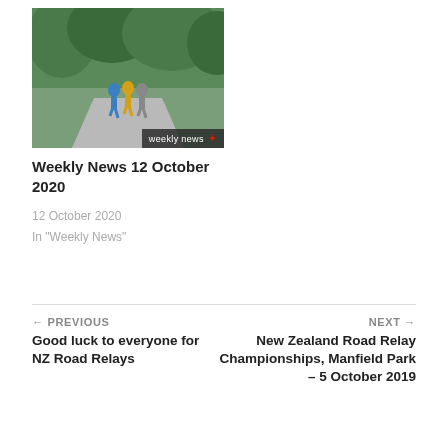[Figure (photo): Thumbnail photo of runners on a road with green trees in background. Overlay text reads 'weekly news' with a star icon.]
Weekly News 12 October 2020
12 October 2020
In "Weekly News"
← PREVIOUS
Good luck to everyone for NZ Road Relays
NEXT →
New Zealand Road Relay Championships, Manfield Park – 5 October 2019